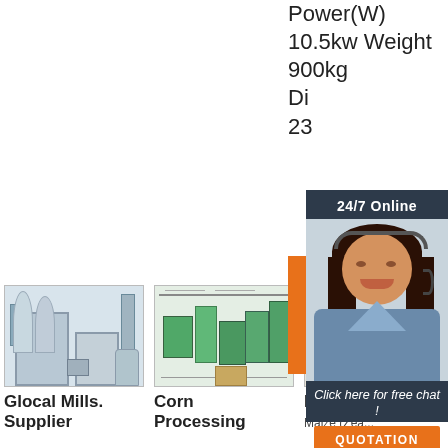Power(W) 10.5kw Weight 900kg Di... 23...
[Figure (photo): Customer service agent chat popup with '24/7 Online' label, photo of smiling woman with headset, 'Click here for free chat!' text, and orange QUOTATION button]
[Figure (photo): Glocal Mills industrial grain milling machine]
Glocal Mills. Supplier
[Figure (schematic): Corn Processing machine diagram with labeled components]
Corn Processing
[Figure (photo): Maize processing machine from IITA with TOP badge overlay]
Maize - IITA Maize (Zea...